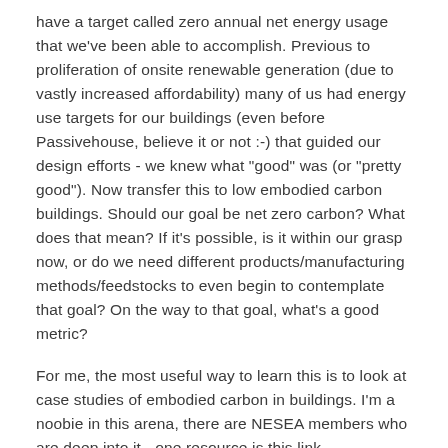have a target called zero annual net energy usage that we've been able to accomplish. Previous to proliferation of onsite renewable generation (due to vastly increased affordability) many of us had energy use targets for our buildings (even before Passivehouse, believe it or not :-) that guided our design efforts - we knew what "good" was (or "pretty good"). Now transfer this to low embodied carbon buildings. Should our goal be net zero carbon? What does that mean? If it's possible, is it within our grasp now, or do we need different products/manufacturing methods/feedstocks to even begin to contemplate that goal? On the way to that goal, what's a good metric?
For me, the most useful way to learn this is to look at case studies of embodied carbon in buildings. I'm a noobie in this arena, there are NESEA members who are deep into it - one resource is this link http://carbonleadershipforum.org/data-